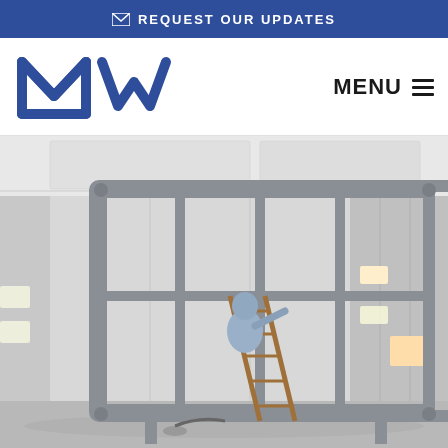✉ REQUEST OUR UPDATES
[Figure (logo): Martin Williams (Hull) Limited logo — large blue MW letters above company name]
MENU ☰
[Figure (photo): Industrial spray painting booth showing a large grey steel frame structure being painted by a worker in protective gear on a ladder inside a white spray booth]